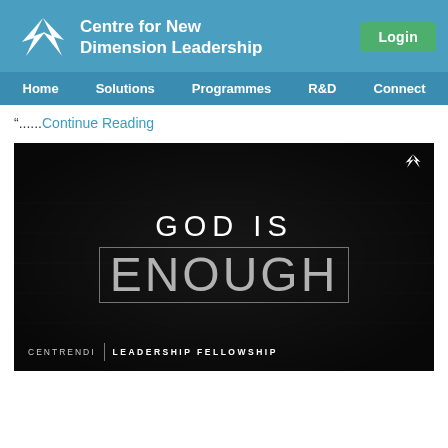Centre for New Dimension Leadership
“......Continue Reading
[Figure (photo): Black background image with text 'GOD IS ENOUGH' in white letters and 'CENTRENDI | LEADERSHIP FELLOWSHIP' at the bottom]